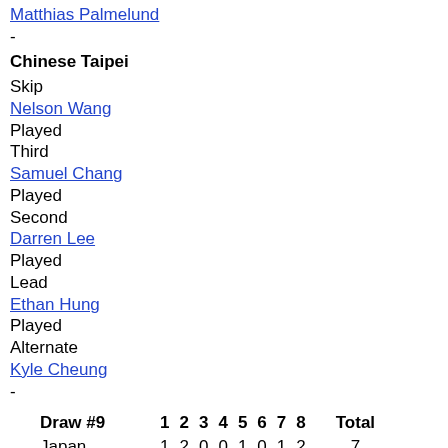Matthias Palmelund
-
Chinese Taipei
Skip
Nelson Wang
Played
Third
Samuel Chang
Played
Second
Darren Lee
Played
Lead
Ethan Hung
Played
Alternate
Kyle Cheung
-
|  | Draw #9 | 1 | 2 | 3 | 4 | 5 | 6 | 7 | 8 |  | Total |
| --- | --- | --- | --- | --- | --- | --- | --- | --- | --- | --- | --- |
| B | Japan | 1 | 2 | 0 | 0 | 1 | 0 | 1 | 2 |  | 7 |
| B | Netherlands * | 0 | 0 | 0 | 2 | 0 | 1 | 0 | 0 |  | 3 |